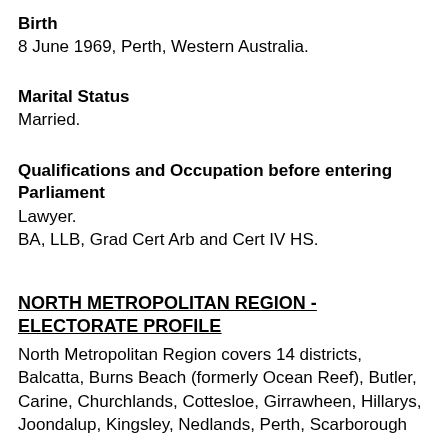Birth
8 June 1969, Perth, Western Australia.
Marital Status
Married.
Qualifications and Occupation before entering Parliament
Lawyer.
BA, LLB, Grad Cert Arb and Cert IV HS.
NORTH METROPOLITAN REGION - ELECTORATE PROFILE
North Metropolitan Region covers 14 districts, Balcatta, Burns Beach (formerly Ocean Reef), Butler, Carine, Churchlands, Cottesloe, Girrawheen, Hillarys, Joondalup, Kingsley, Nedlands, Perth, Scarborough